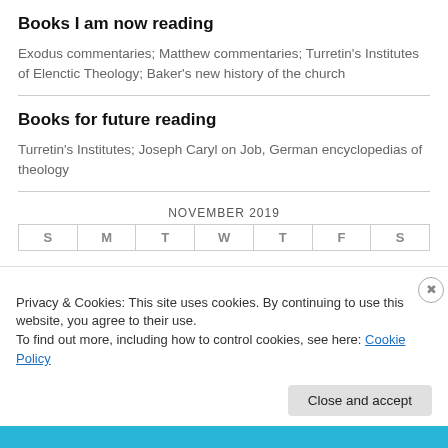Books I am now reading
Exodus commentaries; Matthew commentaries; Turretin's Institutes of Elenctic Theology; Baker's new history of the church
Books for future reading
Turretin's Institutes; Joseph Caryl on Job, German encyclopedias of theology
NOVEMBER 2019
Privacy & Cookies: This site uses cookies. By continuing to use this website, you agree to their use.
To find out more, including how to control cookies, see here: Cookie Policy
Close and accept